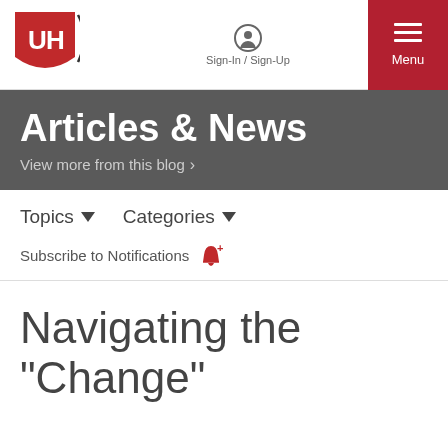Sign-In / Sign-Up | Menu
Articles & News
View more from this blog >
Topics ▾   Categories ▾
Subscribe to Notifications 🔔+
Navigating the "Change"